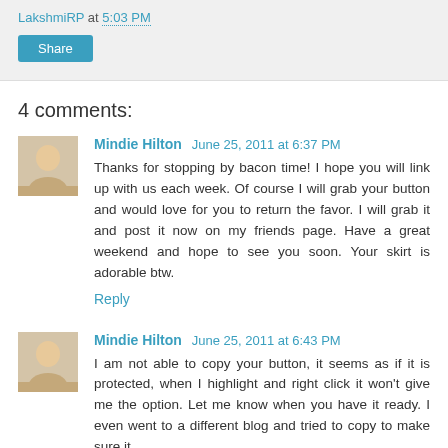LakshmiRP at 5:03 PM
Share
4 comments:
Mindie Hilton June 25, 2011 at 6:37 PM
Thanks for stopping by bacon time! I hope you will link up with us each week. Of course I will grab your button and would love for you to return the favor. I will grab it and post it now on my friends page. Have a great weekend and hope to see you soon. Your skirt is adorable btw.
Reply
Mindie Hilton June 25, 2011 at 6:43 PM
I am not able to copy your button, it seems as if it is protected, when I highlight and right click it won't give me the option. Let me know when you have it ready. I even went to a different blog and tried to copy to make sure it